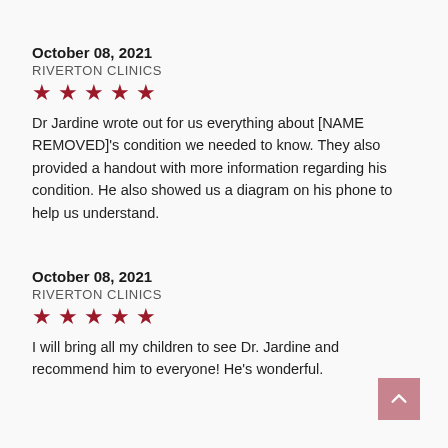October 08, 2021
RIVERTON CLINICS
★ ★ ★ ★ ★
Dr Jardine wrote out for us everything about [NAME REMOVED]'s condition we needed to know. They also provided a handout with more information regarding his condition. He also showed us a diagram on his phone to help us understand.
October 08, 2021
RIVERTON CLINICS
★ ★ ★ ★ ★
I will bring all my children to see Dr. Jardine and recommend him to everyone! He's wonderful.